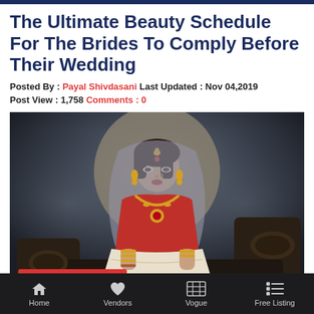The Ultimate Beauty Schedule For The Brides To Comply Before Their Wedding
Posted By : Payal Shivdasani Last Updated : Nov 04,2019
Post View : 1,758 Comments : 0
[Figure (photo): Indian bride in red and gold bridal lehenga with dupatta draped over head, wearing gold jewelry, seated on an ornate dark wooden sofa against a smoky grey background. A red 'Free Quotation' button is overlaid at the bottom left of the image.]
Home  Vendors  Vogue  Free Listing